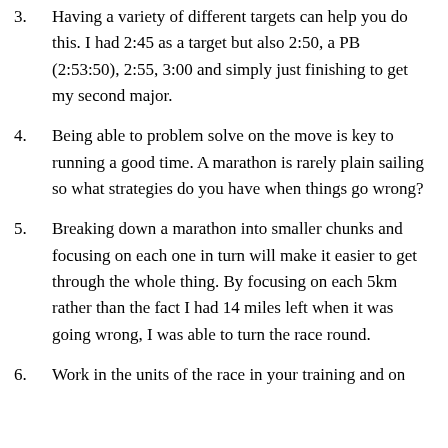3. Having a variety of different targets can help you do this. I had 2:45 as a target but also 2:50, a PB (2:53:50), 2:55, 3:00 and simply just finishing to get my second major.
4. Being able to problem solve on the move is key to running a good time. A marathon is rarely plain sailing so what strategies do you have when things go wrong?
5. Breaking down a marathon into smaller chunks and focusing on each one in turn will make it easier to get through the whole thing. By focusing on each 5km rather than the fact I had 14 miles left when it was going wrong, I was able to turn the race round.
6. Work in the units of the race in your training and on